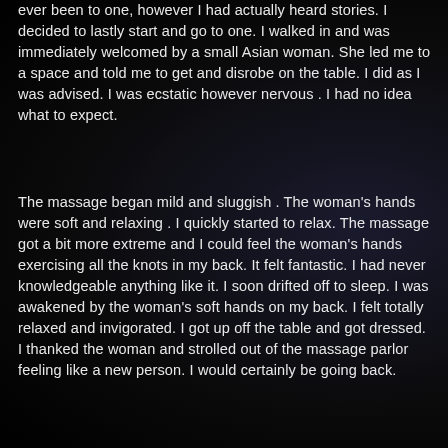ever been to one, however I had actually heard stories. I decided to lastly start and go to one. I walked in and was immediately welcomed by a small Asian woman. She led me to a space and told me to get and disrobe on the table. I did as I was advised. I was ecstatic however nervous . I had no idea what to expect.
The massage began mild and sluggish . The woman's hands were soft and relaxing . I quickly started to relax. The massage got a bit more extreme and I could feel the woman's hands exercising all the knots in my back. It felt fantastic. I had never knowledgeable anything like it. I soon drifted off to sleep. I was awakened by the woman's soft hands on my back. I felt totally relaxed and invigorated. I got up off the table and got dressed. I thanked the woman and strolled out of the massage parlor feeling like a new person. I would certainly be going back.